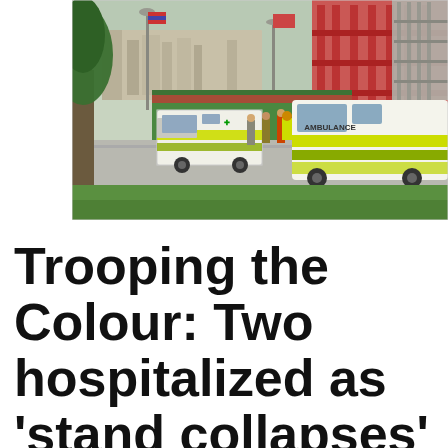[Figure (photo): Outdoor scene showing ambulances and emergency vehicles with yellow-green livery parked on a road. Emergency personnel in high-visibility gear stand nearby. Red scaffolding stands and a green hoarding are visible in the background along with trees and a historic building. The scene appears to be London during an outdoor event rehearsal.]
Trooping the Colour: Two hospitalized as 'stand collapses' during rehearsal